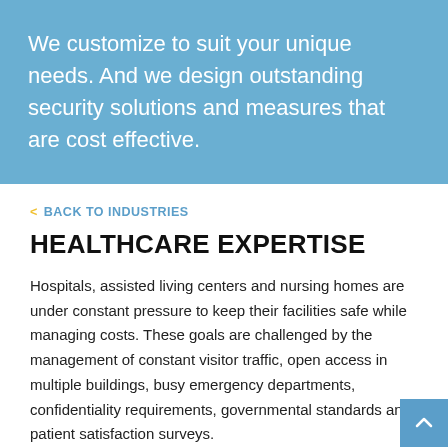We customize to suit your unique needs. And we design outstanding security solutions and measures that are cost effective.
< BACK TO INDUSTRIES
HEALTHCARE EXPERTISE
Hospitals, assisted living centers and nursing homes are under constant pressure to keep their facilities safe while managing costs. These goals are challenged by the management of constant visitor traffic, open access in multiple buildings, busy emergency departments, confidentiality requirements, governmental standards and patient satisfaction surveys.